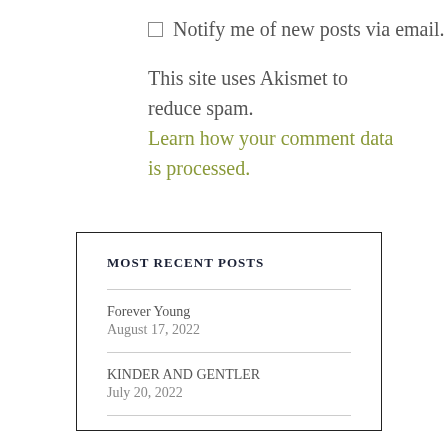Notify me of new posts via email.
This site uses Akismet to reduce spam. Learn how your comment data is processed.
MOST RECENT POSTS
Forever Young
August 17, 2022
KINDER AND GENTLER
July 20, 2022